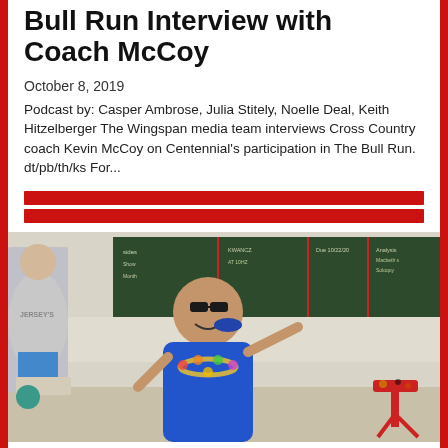Bull Run Interview with Coach McCoy
October 8, 2019
Podcast by: Casper Ambrose, Julia Stitely, Noelle Deal, Keith Hitzelberger The Wingspan media team interviews Cross Country coach Kevin McCoy on Centennial's participation in The Bull Run.  dt/pb/th/ks For...
[Figure (other): Two red horizontal bars used as a decorative divider]
[Figure (photo): Classroom photo showing a student in a blue shirt and flower lei posing and pointing, another student in a gray hoodie standing in the background, a green chalkboard with writing, desks, and a red stool on the right side.]